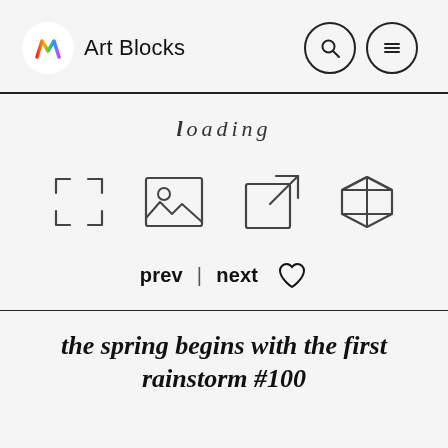Art Blocks
loading
[Figure (illustration): Four icons: expand/fullscreen arrows, image placeholder, external link, 3D cube]
prev  |  next  ♡
the spring begins with the first rainstorm #100